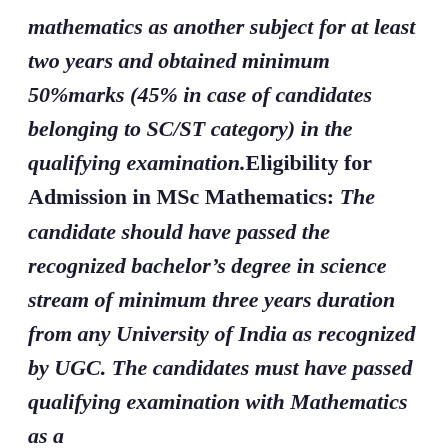mathematics as another subject for at least two years and obtained minimum 50%marks (45% in case of candidates belonging to SC/ST category) in the qualifying examination.Eligibility for Admission in MSc Mathematics: The candidate should have passed the recognized bachelor's degree in science stream of minimum three years duration from any University of India as recognized by UGC. The candidates must have passed qualifying examination with Mathematics as a